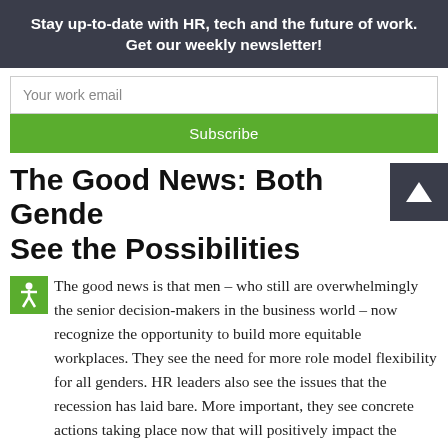Stay up-to-date with HR, tech and the future of work. Get our weekly newsletter!
Your work email
Subscribe
The Good News: Both Genders See the Possibilities
The good news is that men – who still are overwhelmingly the senior decision-makers in the business world – now recognize the opportunity to build more equitable workplaces. They see the need for more role model flexibility for all genders. HR leaders also see the issues that the recession has laid bare. More important, they see concrete actions taking place now that will positively impact the future.
The silver lining is that this crisis and these dismaying